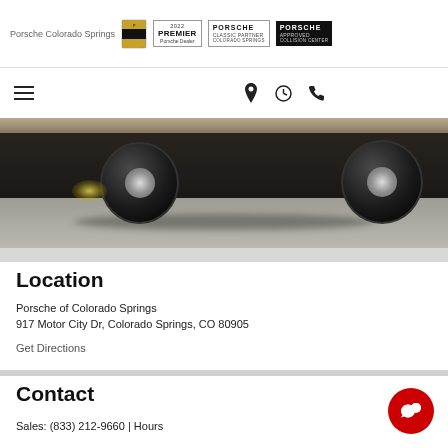Porsche Colorado Springs | 2022 PREMIER Porsche Dealer | PORSCHE CLASSIC PARTNER COLORADO SPRINGS | PORSCHE APPROVED COLLISION CENTER
[Figure (photo): Close-up photograph of a dark Porsche vehicle from below, showing tires and undercarriage motion shot on a road with lens flare]
Location
Porsche of Colorado Springs
917 Motor City Dr, Colorado Springs, CO 80905
Get Directions
Contact
Sales: (833) 212-9660 | Hours